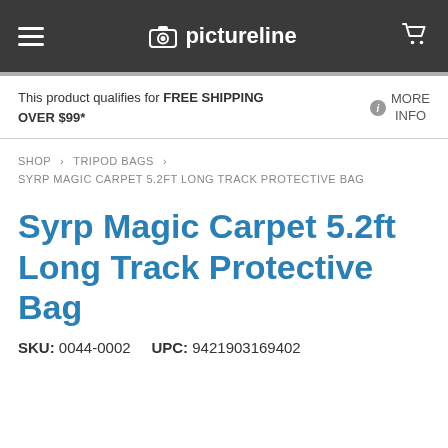pictureline
This product qualifies for FREE SHIPPING OVER $99*   MORE INFO
SHOP > TRIPOD BAGS > SYRP MAGIC CARPET 5.2FT LONG TRACK PROTECTIVE BAG
Syrp Magic Carpet 5.2ft Long Track Protective Bag
SKU: 0044-0002   UPC: 9421903169402